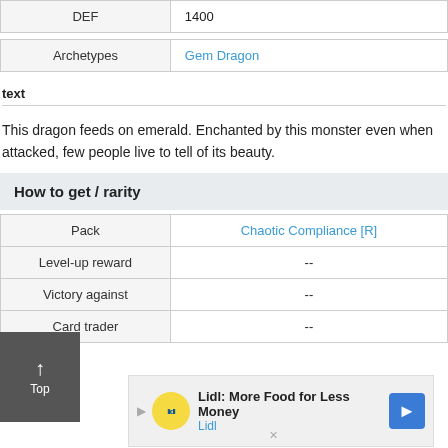| DEF | 1400 |
| --- | --- |
| Archetypes | Gem Dragon |
| --- | --- |
text
This dragon feeds on emerald. Enchanted by this monster even when attacked, few people live to tell of its beauty.
How to get / rarity
| Pack | Chaotic Compliance [R] |
| --- | --- |
| Level-up reward | -- |
| Victory against | -- |
| Card trader | -- |
[Figure (other): Lidl advertisement banner: 'Lidl: More Food for Less Money' with Lidl logo and navigation icon]